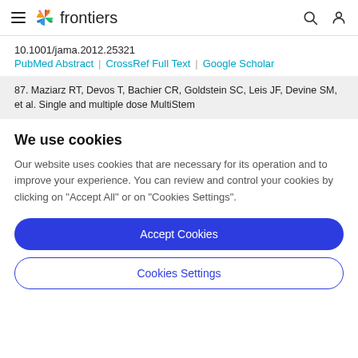frontiers
10.1001/jama.2012.25321
PubMed Abstract | CrossRef Full Text | Google Scholar
87. Maziarz RT, Devos T, Bachier CR, Goldstein SC, Leis JF, Devine SM, et al. Single and multiple dose MultiStem
We use cookies
Our website uses cookies that are necessary for its operation and to improve your experience. You can review and control your cookies by clicking on "Accept All" or on "Cookies Settings".
Accept Cookies
Cookies Settings